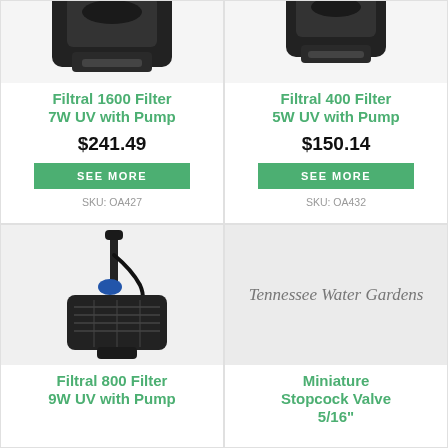[Figure (photo): Black pond filter unit with UV, top view, partially cropped]
Filtral 1600 Filter 7W UV with Pump
$241.49
SEE MORE
SKU: OA427
[Figure (photo): Black compact pond filter with UV, top view, partially cropped]
Filtral 400 Filter 5W UV with Pump
$150.14
SEE MORE
SKU: OA432
[Figure (photo): Black pond pump/filter with vertical pipe attachment]
Filtral 800 Filter 9W UV with Pump
[Figure (logo): Tennessee Water Gardens logo on light gray background]
Miniature Stopcock Valve 5/16"